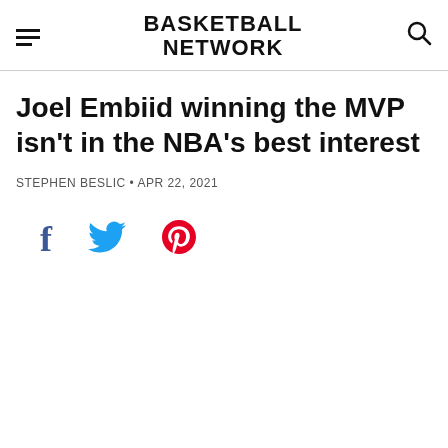BASKETBALL NETWORK
Joel Embiid winning the MVP isn't in the NBA's best interest
STEPHEN BESLIC • APR 22, 2021
[Figure (infographic): Social sharing icons: Facebook (f), Twitter (bird), Pinterest (p)]